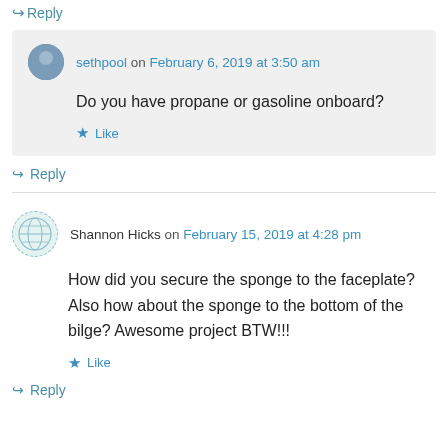↪ Reply
sethpool on February 6, 2019 at 3:50 am
Do you have propane or gasoline onboard?
★ Like
↪ Reply
Shannon Hicks on February 15, 2019 at 4:28 pm
How did you secure the sponge to the faceplate? Also how about the sponge to the bottom of the bilge? Awesome project BTW!!!
★ Like
↪ Reply